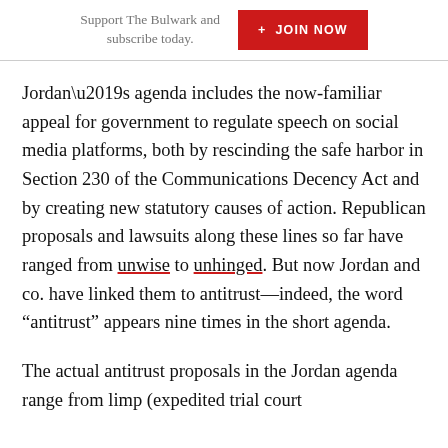Support The Bulwark and subscribe today.  + JOIN NOW
Jordan’s agenda includes the now-familiar appeal for government to regulate speech on social media platforms, both by rescinding the safe harbor in Section 230 of the Communications Decency Act and by creating new statutory causes of action. Republican proposals and lawsuits along these lines so far have ranged from unwise to unhinged. But now Jordan and co. have linked them to antitrust—indeed, the word “antitrust” appears nine times in the short agenda.
The actual antitrust proposals in the Jordan agenda range from limp (expedited trial court